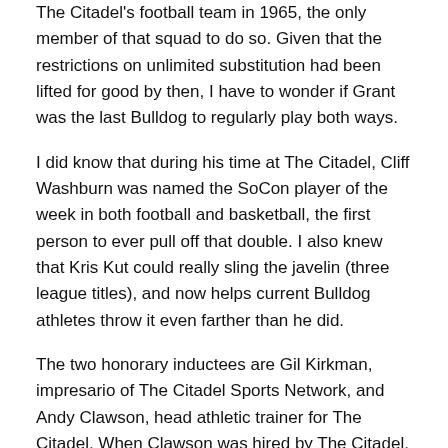The Citadel's football team in 1965, the only member of that squad to do so. Given that the restrictions on unlimited substitution had been lifted for good by then, I have to wonder if Grant was the last Bulldog to regularly play both ways.
I did know that during his time at The Citadel, Cliff Washburn was named the SoCon player of the week in both football and basketball, the first person to ever pull off that double. I also knew that Kris Kut could really sling the javelin (three league titles), and now helps current Bulldog athletes throw it even farther than he did.
The two honorary inductees are Gil Kirkman, impresario of The Citadel Sports Network, and Andy Clawson, head athletic trainer for The Citadel. When Clawson was hired by The Citadel, the #1 song on the Billboard Hot 100 was "Bad, Bad Leroy Brown" by Jim Cr...